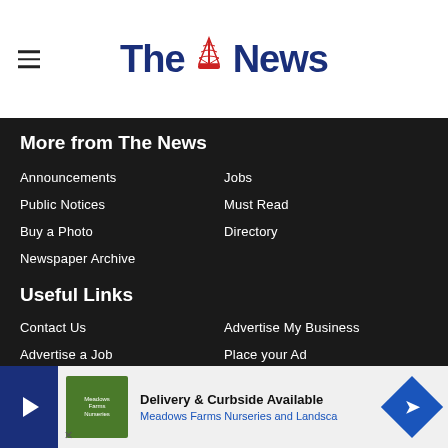[Figure (logo): The News newspaper logo with hamburger menu icon and red ship icon between 'The' and 'News']
More from The News
Announcements
Jobs
Public Notices
Must Read
Buy a Photo
Directory
Newspaper Archive
Useful Links
Contact Us
Advertise My Business
Advertise a Job
Place your Ad
Subscribe
Events
Newsletter
Archive
Readers Charter
[Figure (other): Advertisement banner: Delivery & Curbside Available - Meadows Farms Nurseries and Landsca...]